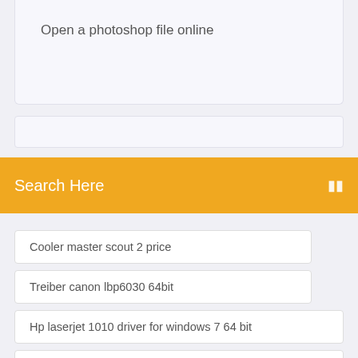Open a photoshop file online
Search Here
Cooler master scout 2 price
Treiber canon lbp6030 64bit
Hp laserjet 1010 driver for windows 7 64 bit
Hp laserjet 1010 driver for windows 7 64 bit
Glitch gta 5 online ps3 rp
Wie man musik als klingelton auf dem iphone ohne